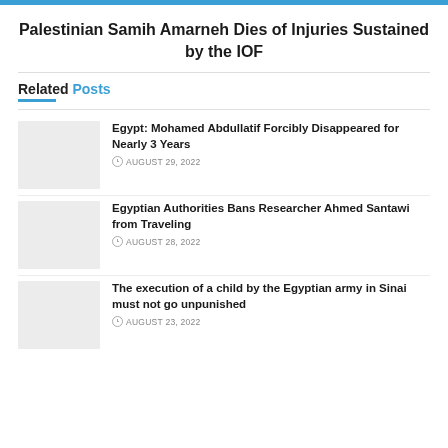Palestinian Samih Amarneh Dies of Injuries Sustained by the IOF
Related Posts
Egypt: Mohamed Abdullatif Forcibly Disappeared for Nearly 3 Years
AUGUST 29, 2022
Egyptian Authorities Bans Researcher Ahmed Santawi from Traveling
AUGUST 28, 2022
The execution of a child by the Egyptian army in Sinai must not go unpunished
AUGUST 23, 2022